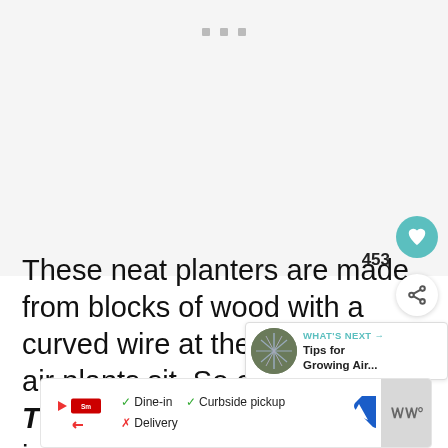[Figure (photo): Image placeholder with three gray dots at top, light gray background, representing a loading or blank image area for planters made of wood blocks]
These neat planters are made from blocks of wood with a curved wire at the top where the air plants sit. So creative. Thanks for sharing Lilibeth! I just love the way these look!
[Figure (other): What's Next bubble showing a circular thumbnail of an air plant and text: WHAT'S NEXT → Tips for Growing Air...]
[Figure (infographic): Advertisement bar at bottom showing Smoothie King logo, dine-in checkmark, curbside pickup checkmark, delivery X, and a navigation icon]